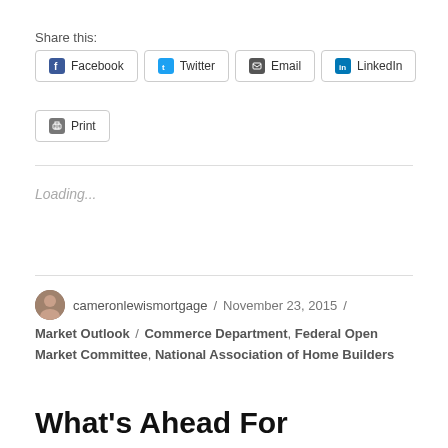Share this:
Facebook / Twitter / Email / LinkedIn / Print
Loading...
cameronlewismortgage / November 23, 2015 / Market Outlook / Commerce Department, Federal Open Market Committee, National Association of Home Builders
What's Ahead For